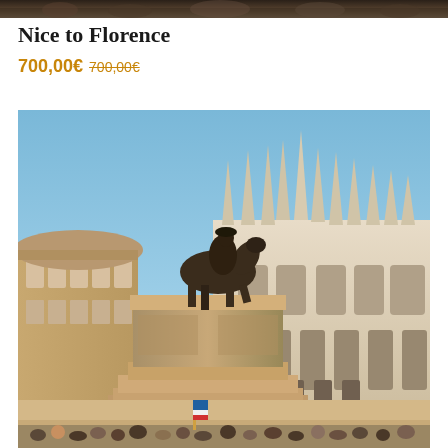[Figure (photo): Cropped top portion of a travel photo showing crowd scene]
Nice to Florence
700,00€ 700,00€
[Figure (photo): Milan Piazza del Duomo with equestrian statue of Vittorio Emanuele II and Milan Cathedral (Duomo di Milano) in background under clear blue sky, with crowds of tourists at base]